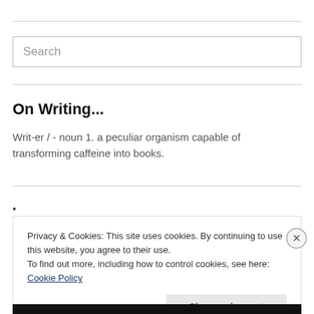[Figure (other): Search input box with placeholder text 'Search']
On Writing...
Writ-er / - noun 1. a peculiar organism capable of transforming caffeine into books.
•
Privacy & Cookies: This site uses cookies. By continuing to use this website, you agree to their use.
To find out more, including how to control cookies, see here: Cookie Policy